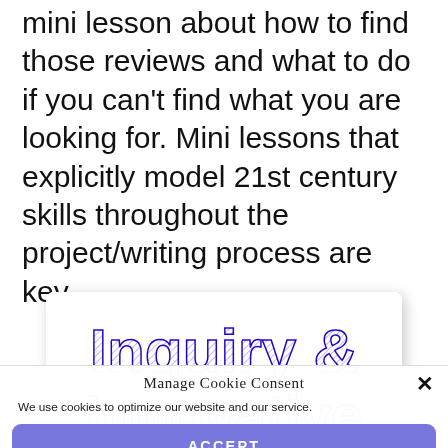mini lesson about how to find those reviews and what to do if you can't find what you are looking for. Mini lessons that explicitly model 21st century skills throughout the project/writing process are key.
[Figure (illustration): Decorative title graphic showing 'Inquiry &' in large blue sketchy/hand-drawn style font, with a second partially visible line below beginning with 'Inno...' or similar, on a white card with shadow]
Manage Cookie Consent
We use cookies to optimize our website and our service.
ACCEPT